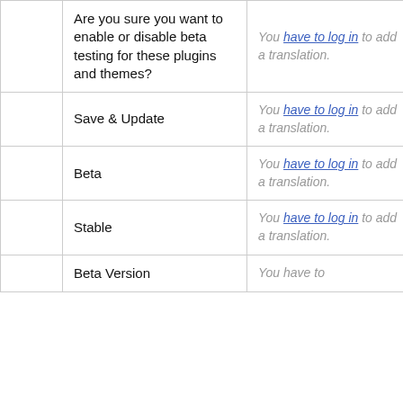|  | Source | Translation | Action |
| --- | --- | --- | --- |
|  | Are you sure you want to enable or disable beta testing for these plugins and themes? | You have to log in to add a translation. | Details |
|  | Save & Update | You have to log in to add a translation. | Details |
|  | Beta | You have to log in to add a translation. | Details |
|  | Stable | You have to log in to add a translation. | Details |
|  | Beta Version | You have to... |  |